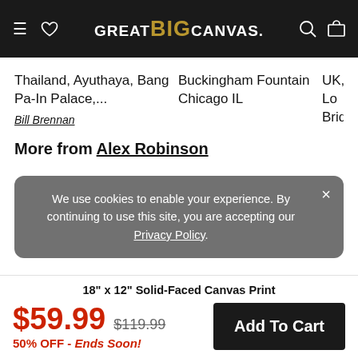GREAT BIG CANVAS.
Thailand, Ayuthaya, Bang Pa-In Palace,...
Buckingham Fountain Chicago IL
UK, Lo Bridge
Bill Brennan
More from Alex Robinson
We use cookies to enable your experience. By continuing to use this site, you are accepting our Privacy Policy.
18" x 12" Solid-Faced Canvas Print
$59.99 $119.99 50% OFF - Ends Soon!
Add To Cart